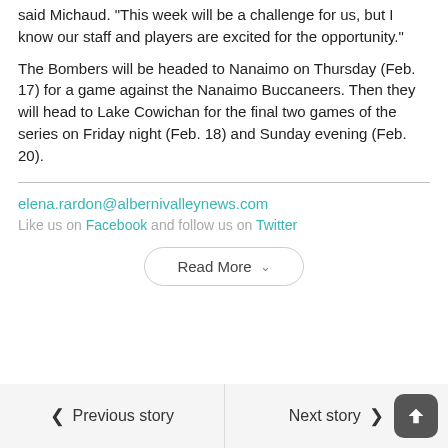said Michaud. “This week will be a challenge for us, but I know our staff and players are excited for the opportunity.”
The Bombers will be headed to Nanaimo on Thursday (Feb. 17) for a game against the Nanaimo Buccaneers. Then they will head to Lake Cowichan for the final two games of the series on Friday night (Feb. 18) and Sunday evening (Feb. 20).
elena.rardon@albernivalleynews.com
Like us on Facebook and follow us on Twitter
Read More
Previous story
Next story